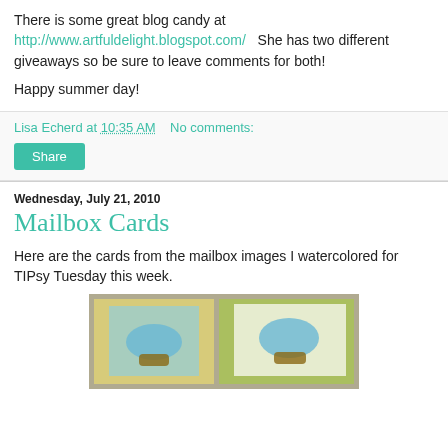There is some great blog candy at http://www.artfuldelight.blogspot.com/  She has two different giveaways so be sure to leave comments for both!
Happy summer day!
Lisa Echerd at 10:35 AM   No comments:
Share
Wednesday, July 21, 2010
Mailbox Cards
Here are the cards from the mailbox images I watercolored for TIPsy Tuesday this week.
[Figure (photo): Photo of handmade mailbox cards with watercolored images, showing two cards with colorful designs on yellow and green patterned backgrounds.]